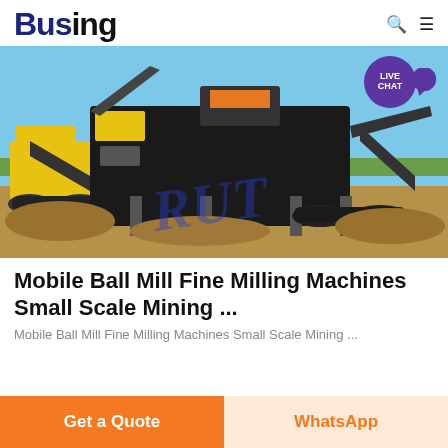Busing
[Figure (photo): Large yellow and black mobile mining/crushing machine (ball mill/screening plant) outdoors on a dirt field under a blue sky. A blue cursive watermark 'RUT' is overlaid. A purple 'LIVE CHAT' badge with speech bubble icon is in the top-right corner.]
Mobile Ball Mill Fine Milling Machines Small Scale Mining ...
Mobile Ball Mill Fine Milling Machines Small Scale Mining ...